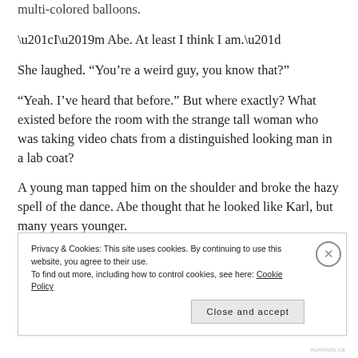multi-colored balloons.
“I’m Abe. At least I think I am.”
She laughed. “You’re a weird guy, you know that?”
“Yeah. I’ve heard that before.” But where exactly? What existed before the room with the strange tall woman who was taking video chats from a distinguished looking man in a lab coat?
A young man tapped him on the shoulder and broke the hazy spell of the dance. Abe thought that he looked like Karl, but many years younger.
Privacy & Cookies: This site uses cookies. By continuing to use this website, you agree to their use.
To find out more, including how to control cookies, see here: Cookie Policy
Close and accept